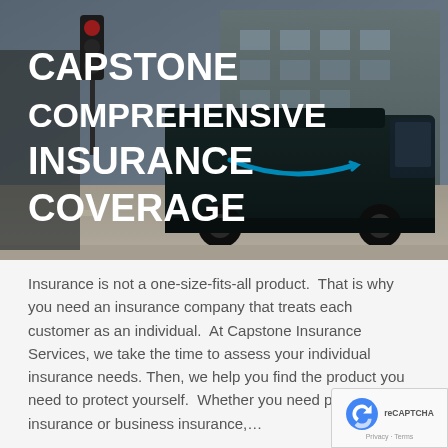[Figure (photo): Hero banner image showing a dark Amazon delivery van at a street intersection with a traffic light and urban building in the background. A large bold white text overlay reads 'CAPSTONE COMPREHENSIVE INSURANCE COVERAGE'.]
CAPSTONE COMPREHENSIVE INSURANCE COVERAGE
Insurance is not a one-size-fits-all product.  That is why you need an insurance company that treats each customer as an individual.  At Capstone Insurance Services, we take the time to assess your individual insurance needs. Then, we help you find the product you need to protect yourself.  Whether you need personal insurance or business insurance,…